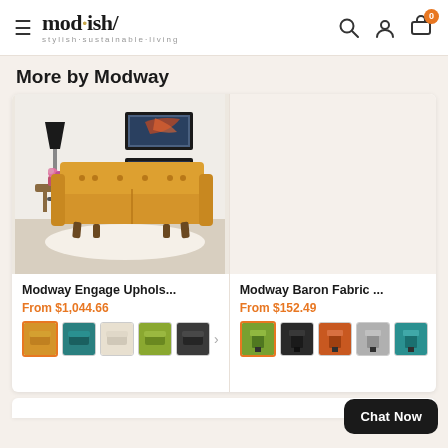mod·ish/ stylish·sustainable·living — navigation header with search, account, and cart icons
More by Modway
[Figure (photo): Yellow mid-century modern sofa (Modway Engage Upholstered Sofa) in a living room setting with artwork on the wall]
Modway Engage Uphols...
From $1,044.66
[Figure (photo): Color swatches for Modway Engage Upholstered Sofa: mustard/orange (selected), teal, beige, green, charcoal]
Modway Baron Fabric ...
From $152.49
[Figure (photo): Color swatches for Modway Baron Fabric Chair: green (selected), dark charcoal, orange/rust, gray, teal]